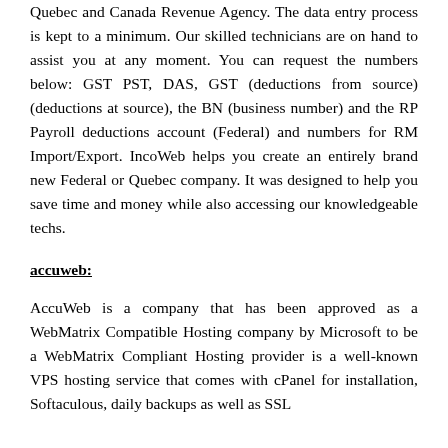Quebec and Canada Revenue Agency. The data entry process is kept to a minimum. Our skilled technicians are on hand to assist you at any moment. You can request the numbers below: GST PST, DAS, GST (deductions from source) (deductions at source), the BN (business number) and the RP Payroll deductions account (Federal) and numbers for RM Import/Export. IncoWeb helps you create an entirely brand new Federal or Quebec company. It was designed to help you save time and money while also accessing our knowledgeable techs.
accuweb:
AccuWeb is a company that has been approved as a WebMatrix Compatible Hosting company by Microsoft to be a WebMatrix Compliant Hosting provider is a well-known VPS hosting service that comes with cPanel for installation, Softaculous, daily backups as well as SSL